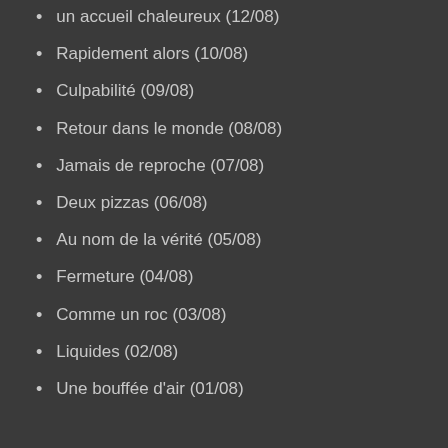un accueil chaleureux (12/08)
Rapidement alors (10/08)
Culpabilité (09/08)
Retour dans le monde (08/08)
Jamais de reproche (07/08)
Deux pizzas (06/08)
Au nom de la vérité (05/08)
Fermeture (04/08)
Comme un roc (03/08)
Liquides (02/08)
Une bouffée d'air (01/08)
JUILLET 2019
Scénario de dépendance (31/07)
Rire et projections (30/07)
Aude sur... Terra incognita (30/07)
Accouchement (28/07)
Terra incognita (27/07)